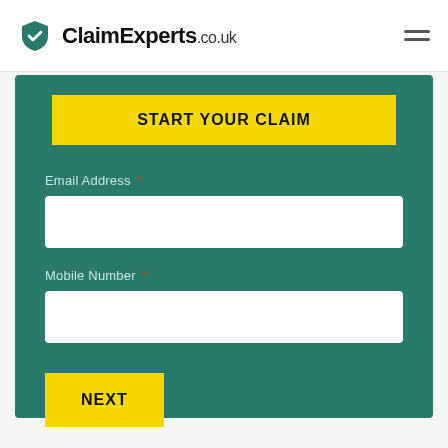[Figure (logo): ClaimExperts.co.uk logo with teal shield and checkmark icon]
START YOUR CLAIM
Email Address *
Mobile Number *
NEXT